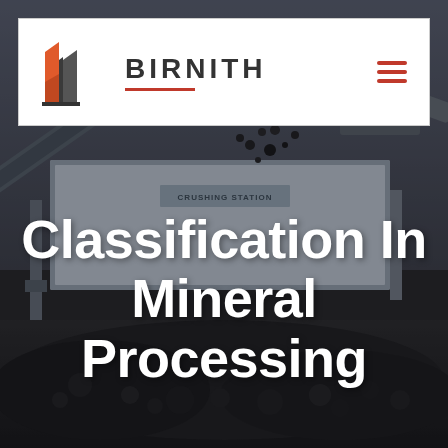[Figure (photo): Dark industrial photo of a crushing station with heavy machinery, conveyor belts, and black mineral/rock material being processed outdoors]
[Figure (logo): Birnith company logo: orange and grey stylized building/construction icon with company name BIRNITH in bold grey letters and red underline, plus red hamburger menu icon on the right]
Classification In Mineral Processing